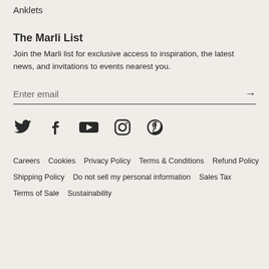Anklets
The Marli List
Join the Marli list for exclusive access to inspiration, the latest news, and invitations to events nearest you.
Enter email
[Figure (infographic): Social media icons: Twitter, Facebook, YouTube, Instagram, Pinterest]
Careers  Cookies  Privacy Policy  Terms & Conditions  Refund Policy  Shipping Policy  Do not sell my personal information  Sales Tax  Terms of Sale  Sustainability